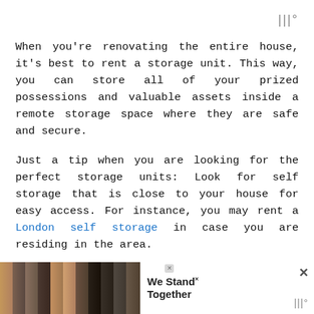|||°
When you're renovating the entire house, it's best to rent a storage unit. This way, you can store all of your prized possessions and valuable assets inside a remote storage space where they are safe and secure.
Just a tip when you are looking for the perfect storage units: Look for self storage that is close to your house for easy access. For instance, you may rent a London self storage in case you are residing in the area.
[Figure (infographic): Advertisement banner showing people with arms around each other, text 'We Stand Together', with close buttons]